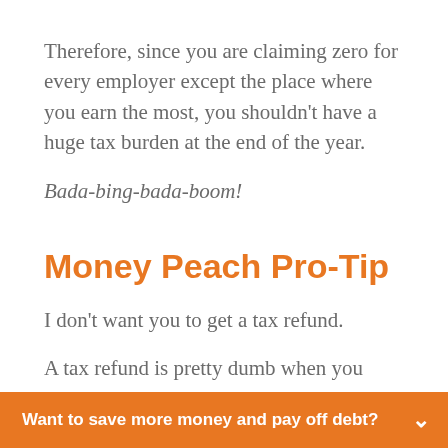Therefore, since you are claiming zero for every employer except the place where you earn the most, you shouldn't have a huge tax burden at the end of the year.
Bada-bing-bada-boom!
Money Peach Pro-Tip
I don't want you to get a tax refund.
A tax refund is pretty dumb when you break it down.
Want to save more money and pay off debt?